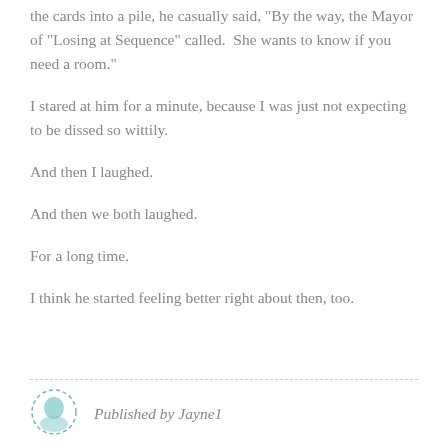the cards into a pile, he casually said, "By the way, the Mayor of "Losing at Sequence" called.  She wants to know if you need a room."
I stared at him for a minute, because I was just not expecting to be dissed so wittily.
And then I laughed.
And then we both laughed.
For a long time.
I think he started feeling better right about then, too.
Published by Jayne1